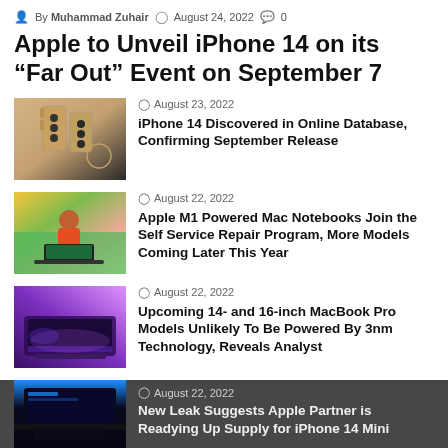By Muhammad Zuhair  August 24, 2022  0
Apple to Unveil iPhone 14 on its “Far Out” Event on September 7
August 23, 2022 — iPhone 14 Discovered in Online Database, Confirming September Release
August 22, 2022 — Apple M1 Powered Mac Notebooks Join the Self Service Repair Program, More Models Coming Later This Year
August 22, 2022 — Upcoming 14- and 16-inch MacBook Pro Models Unlikely To Be Powered By 3nm Technology, Reveals Analyst
August 22, 2022 — New Leak Suggests Apple Partner is Readying Up Supply for iPhone 14 Mini